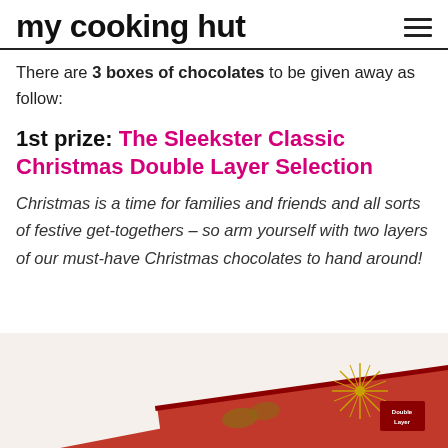my cooking hut
There are 3 boxes of chocolates to be given away as follow:
1st prize: The Sleekster Classic Christmas Double Layer Selection
Christmas is a time for families and friends and all sorts of festive get-togethers – so arm yourself with two layers of our must-have Christmas chocolates to hand around!
[Figure (photo): Partial image of a red chocolate box (Sleekster Classic Christmas Double Layer Selection) with gold decorative star/snowflake ornament visible at bottom of page]